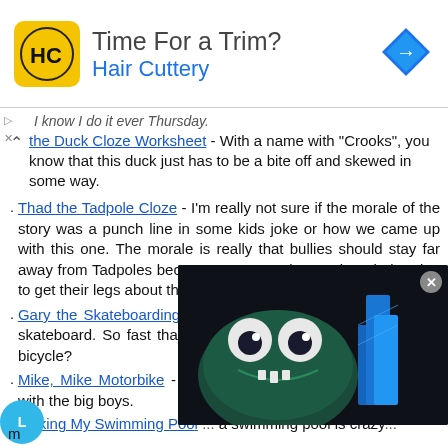[Figure (infographic): Ad banner for Hair Cuttery: logo (HC in yellow circle), headline 'Time For a Trim?', subtitle 'Hair Cuttery', navigation diamond icon at right]
I know I do it ever Thursday. [the Duck Cloze Worksheet] - With a name with "Crooks", you know that this duck just has to be a bite off and skewed in some way.
Thad the Tadpole Cloze - I'm really not sure if the morale of the story was a punch line in some kids joke or how we came up with this one. The morale is really that bullies should stay far away from Tadpoles because you never know when their going to get their legs about them.
Gary the Skateboarding Gorilla - Gary loves to go fast on his skateboard. So fast that he can out pace a bicycle? Really, a bicycle?
Mike, Mike Motorbike - M... comes across a professio... train with the big boys.
Making My Swimming Poo... a swimming pool is crazy...
[Figure (screenshot): Video overlay showing animated monster face with glowing eyes on dark background, with @AdMetricsPro watermark and blue bar chart graphic, and a close (X) button]